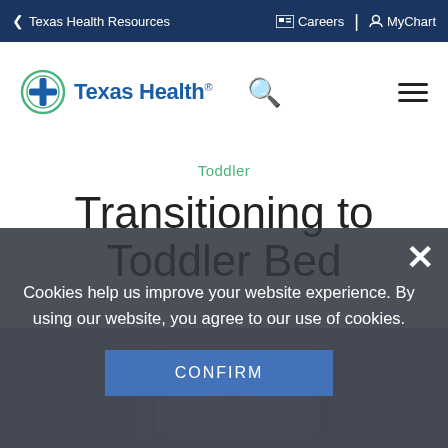< Texas Health Resources   Careers   MyChart
[Figure (logo): Texas Health logo with circular cross icon and blue Texas Health text]
Toddler
Transitioning to Toddler Bed
[Figure (photo): Background image of a toddler bed room scene]
Cookies help us improve your website experience. By using our website, you agree to our use of cookies.
CONFIRM